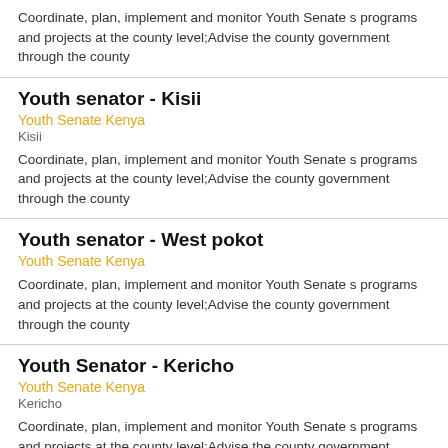Coordinate, plan, implement and monitor Youth Senate s programs and projects at the county level;Advise the county government through the county
Youth senator - Kisii
Youth Senate Kenya
Kisii
Coordinate, plan, implement and monitor Youth Senate s programs and projects at the county level;Advise the county government through the county
Youth senator - West pokot
Youth Senate Kenya
Coordinate, plan, implement and monitor Youth Senate s programs and projects at the county level;Advise the county government through the county
Youth Senator - Kericho
Youth Senate Kenya
Kericho
Coordinate, plan, implement and monitor Youth Senate s programs and projects at the county level;Advise the county government through the county
Youth senator - trans-nzoia
Youth Senate Kenya